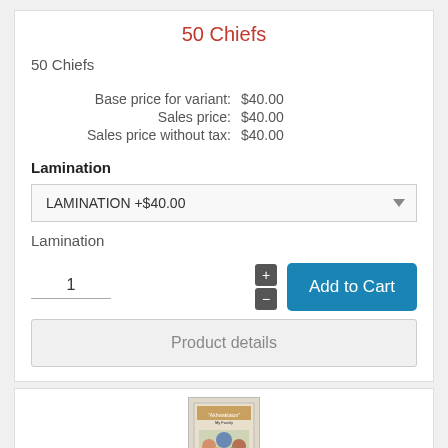50 Chiefs
50 Chiefs
Base price for variant: $40.00
Sales price: $40.00
Sales price without tax: $40.00
Lamination
LAMINATION +$40.00
Lamination
1
Add to Cart
Product details
[Figure (illustration): Book cover thumbnail at bottom of page]